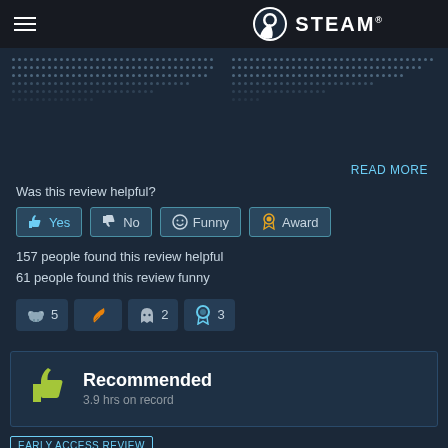STEAM®
[Figure (screenshot): Dotted text pattern on dark background, resembling blurred/pixelated text in a Steam review]
READ MORE
Was this review helpful?
Yes   No   Funny   Award
157 people found this review helpful
61 people found this review funny
[Figure (screenshot): Award badge icons: cow icon with 5, orange feather icon, ghost/figure icon with 2, ribbon icon with 3]
Recommended
3.9 hrs on record
EARLY ACCESS REVIEW
e   1,083 products in account   15 reviews